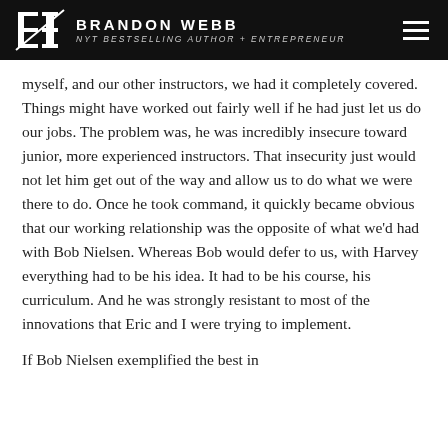BRANDON WEBB
NYT BESTSELLING AUTHOR + ENTREPRENEUR
myself, and our other instructors, we had it completely covered. Things might have worked out fairly well if he had just let us do our jobs. The problem was, he was incredibly insecure toward junior, more experienced instructors. That insecurity just would not let him get out of the way and allow us to do what we were there to do. Once he took command, it quickly became obvious that our working relationship was the opposite of what we'd had with Bob Nielsen. Whereas Bob would defer to us, with Harvey everything had to be his idea. It had to be his course, his curriculum. And he was strongly resistant to most of the innovations that Eric and I were trying to implement.
If Bob Nielsen exemplified the best in